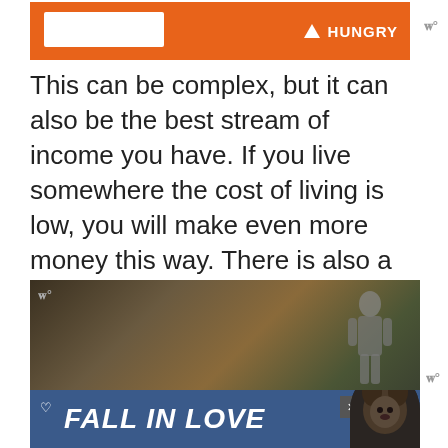[Figure (screenshot): Top advertisement banner with orange background, white input box on left, HUNGRY text on right, and Winamp-style logo in top right corner]
This can be complex, but it can also be the best stream of income you have. If you live somewhere the cost of living is low, you will make even more money this way. There is also a certain thrill around owning your own business and being successful anywhere you are in the world.
[Figure (screenshot): Bottom advertisement showing a person walking in autumn forest scene with a blue banner overlay reading FALL IN LOVE with a dog image, heart icon, close button, and Winamp-style logo]